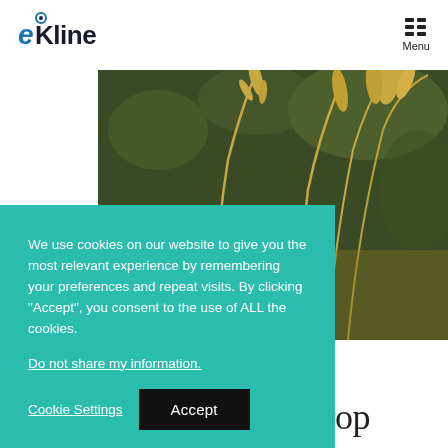eKline | Menu
[Figure (photo): Close-up photograph of golden wheat or grain stalks against a blurred dark green background]
We use cookies on our website to give you the most relevant experience by remembering your preferences and repeat visits. By clicking “Accept”, you consent to the use of ALL the cookies.
Do not share my information.
Cookie Settings | Accept
Stellar Year for U.S. Crop